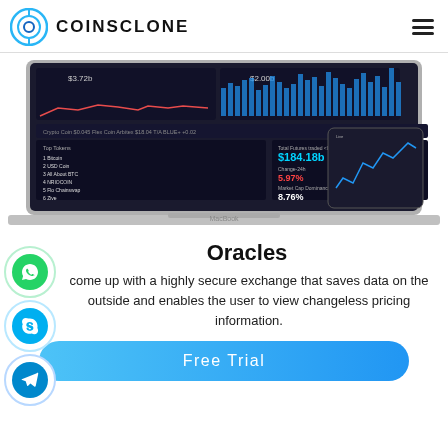COINSCLONE
[Figure (screenshot): Dark-themed cryptocurrency exchange dashboard shown on a MacBook laptop with a mobile device overlay, displaying charts, coin listings with prices, total futures traded $184.18b, change -24h 5.97%, market cap dominance 8.76%, and values $3.72b, $2.00b]
Oracles
come up with a highly secure exchange that saves data on the outside and enables the user to view changeless pricing information.
Free Trial